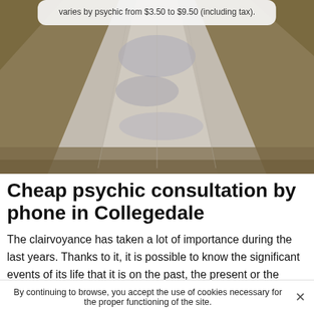varies by psychic from $3.50 to $9.50 (including tax).
[Figure (photo): A dirt road or path stretching into the distance, flanked by dry grass and earth on either side, with a muted warm tone.]
Cheap psychic consultation by phone in Collegedale
The clairvoyance has taken a lot of importance during the last years. Thanks to it, it is possible to know the significant events of its life that it is on the past, the present or the future. Many people are involved in this practice nowadays since the psychic reading sector offers several
By continuing to browse, you accept the use of cookies necessary for the proper functioning of the site.